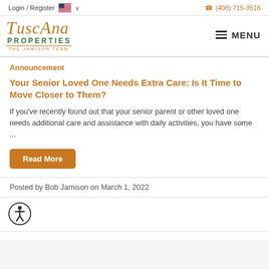Login / Register  (408) 715-3518
[Figure (logo): Tuscana Properties – The Jamison Team logo with orange cursive text and green serif text]
MENU
Announcement
Your Senior Loved One Needs Extra Care: Is It Time to Move Closer to Them?
If you've recently found out that your senior parent or other loved one needs additional care and assistance with daily activities, you have some ...
Read More
Posted by Bob Jamison on March 1, 2022